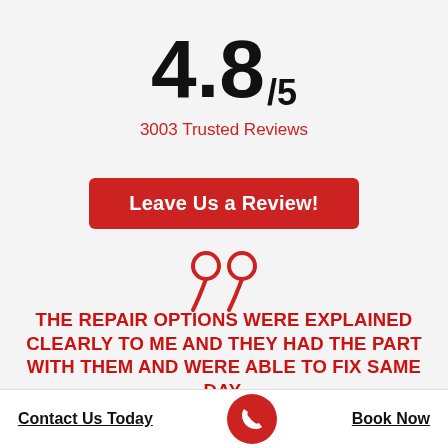4.8 /5
3003 Trusted Reviews
Leave Us a Review!
[Figure (illustration): Large red closing double quotation mark icon]
THE REPAIR OPTIONS WERE EXPLAINED CLEARLY TO ME AND THEY HAD THE PART WITH THEM AND WERE ABLE TO FIX SAME DAY.
Contact Us Today
[Figure (illustration): Red circular phone call button icon]
Book Now